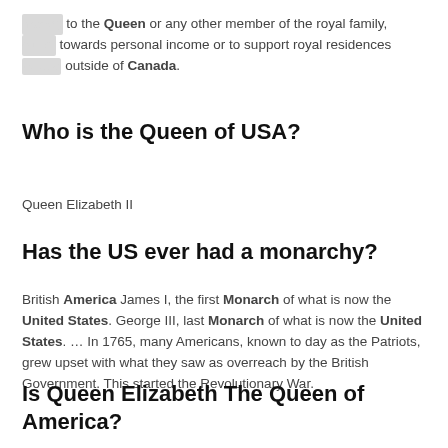money to the Queen or any other member of the royal family, either towards personal income or to support royal residences outside of Canada.
Who is the Queen of USA?
Queen Elizabeth II
Has the US ever had a monarchy?
British America James I, the first Monarch of what is now the United States. George III, last Monarch of what is now the United States. … In 1765, many Americans, known to day as the Patriots, grew upset with what they saw as overreach by the British Government. This started the Revolutionary War.
Is Queen Elizabeth The Queen of America?